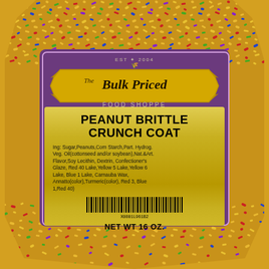[Figure (photo): A bag of The Bulk Priced Food Shoppe Peanut Brittle Crunch Coat product. The bag is filled with colorful small peanut brittle pieces and rainbow sprinkles in yellow, red, green, blue and purple. The bag has a purple branded label with a gold banner logo reading 'The Bulk Priced Food Shoppe' and a gold product label listing the product name, ingredients, barcode, and net weight of 16 oz.]